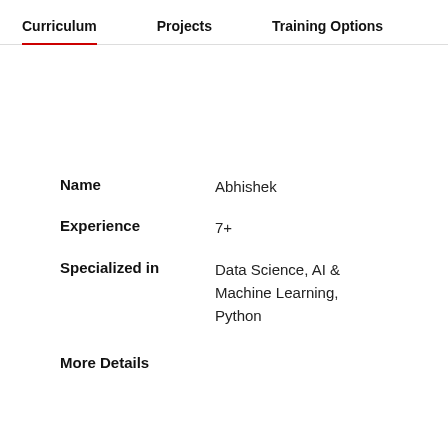Curriculum | Projects | Training Options
| Name | Abhishek |
| Experience | 7+ |
| Specialized in | Data Science, AI & Machine Learning, Python |
| More Details |  |